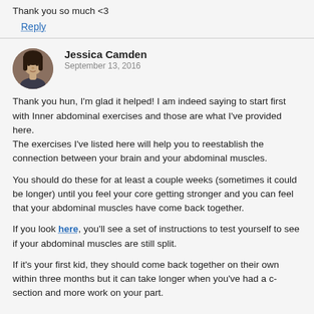Thank you so much <3
Reply
Jessica Camden
September 13, 2016
Thank you hun, I'm glad it helped! I am indeed saying to start first with Inner abdominal exercises and those are what I've provided here.
The exercises I've listed here will help you to reestablish the connection between your brain and your abdominal muscles.

You should do these for at least a couple weeks (sometimes it could be longer) until you feel your core getting stronger and you can feel that your abdominal muscles have come back together.

If you look here, you'll see a set of instructions to test yourself to see if your abdominal muscles are still split.

If it's your first kid, they should come back together on their own within three months but it can take longer when you've had a c-section and more work on your part.